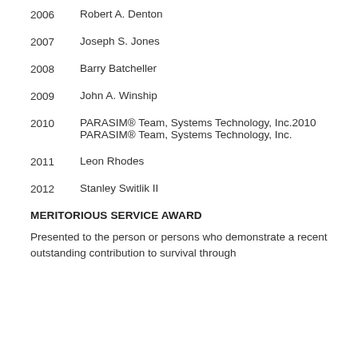2006   Robert A. Denton
2007   Joseph S. Jones
2008   Barry Batcheller
2009   John A. Winship
2010   PARASIM® Team, Systems Technology, Inc.2010 PARASIM® Team, Systems Technology, Inc.
2011   Leon Rhodes
2012   Stanley Switlik II
MERITORIOUS SERVICE AWARD
Presented to the person or persons who demonstrate a recent outstanding contribution to survival through